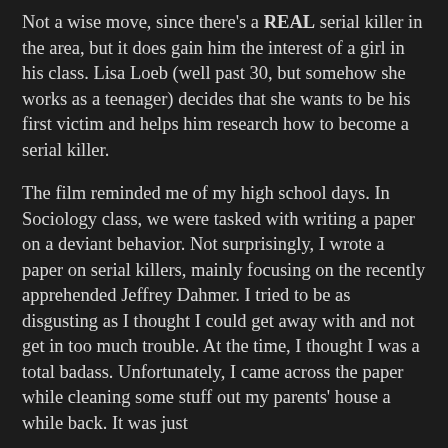Not a wise move, since there's a REAL serial killer in the area, but it does gain him the interest of a girl in his class. Lisa Loeb (well past 30, but somehow she works as a teenager) decides that she wants to be his first victim and helps him research how to become a serial killer.
The film reminded me of my high school days. In Sociology class, we were tasked with writing a paper on a deviant behavior. Not surprisingly, I wrote a paper on serial killers, mainly focusing on the recently apprehended Jeffrey Dahmer. I tried to be as disgusting as I thought I could get away with and not get in too much trouble. At the time, I thought I was a total badass. Unfortunately, I came across the paper while cleaning some stuff out my parents' house a while back. It was just